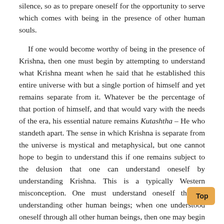silence, so as to prepare oneself for the opportunity to serve which comes with being in the presence of other human souls.
If one would become worthy of being in the presence of Krishna, then one must begin by attempting to understand what Krishna meant when he said that he established this entire universe with but a single portion of himself and yet remains separate from it. Whatever be the percentage of that portion of himself, and that would vary with the needs of the era, his essential nature remains Kutashtha – He who standeth apart. The sense in which Krishna is separate from the universe is mystical and metaphysical, but one cannot hope to begin to understand this if one remains subject to the delusion that one can understand oneself by understanding Krishna. This is a typically Western misconception. One must understand oneself through understanding other human beings; when one understood oneself through all other human beings, then one may begin to understand Krishna. Through